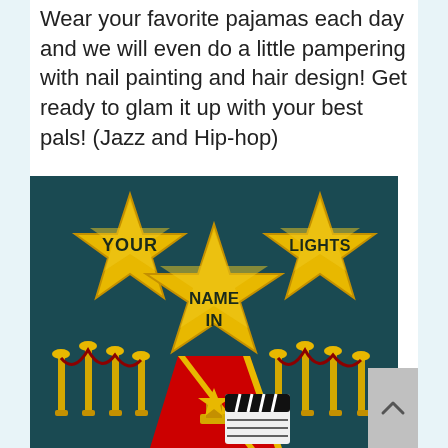Wear your favorite pajamas each day and we will even do a little pampering with nail painting and hair design! Get ready to glam it up with your best pals! (Jazz and Hip-hop)
[Figure (illustration): Dark teal background illustration with three large gold stars. Left star says 'YOUR', center star says 'NAME IN', right star says 'LIGHTS'. Bottom shows a red carpet leading to a movie clapperboard and gold Oscar-style trophy, flanked by gold stanchion/velvet rope barriers.]